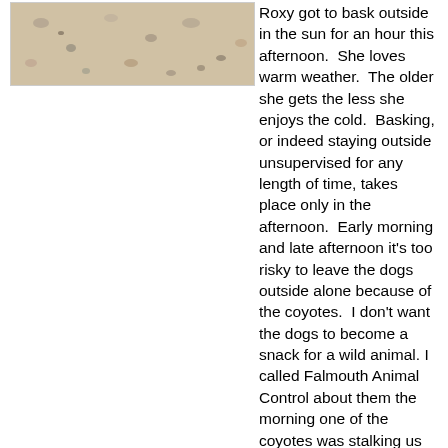[Figure (photo): Close-up photo of sand with small rocks and pebbles]
Roxy got to bask outside in the sun for an hour this afternoon.  She loves warm weather.  The older she gets the less she enjoys the cold.  Basking, or indeed staying outside unsupervised for any length of time, takes place only in the afternoon.  Early morning and late afternoon it's too risky to leave the dogs outside alone because of the coyotes.  I don't want the dogs to become a snack for a wild animal. I called Falmouth Animal Control about them the morning one of the coyotes was stalking us down the street, but I don't think they took the call seriously.
[Figure (photo): Photo of colorful tulips in front of a white picket fence with a house in the background]